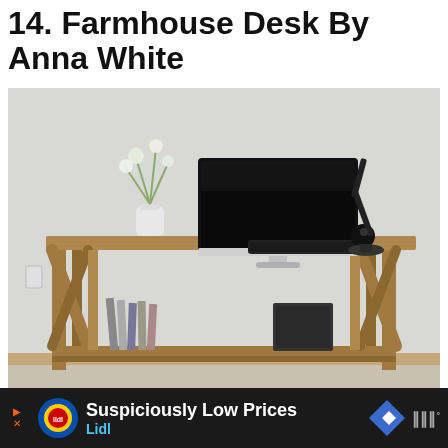14. Farmhouse Desk By Anna White
[Figure (photo): A wooden farmhouse-style desk with X-cross side frames and a lower shelf. On the desk surface: a white vase with flowers, an iMac monitor, a keyboard, and a black adjustable desk lamp. Under the desk: books/magazines and a dark computer tower. Background is a plain light grey wall with beige baseboard.]
Suspiciously Low Prices
Lidl